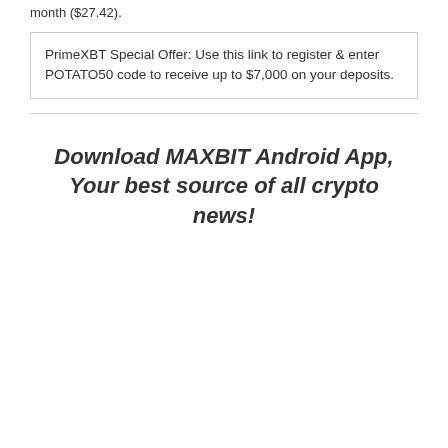month ($27.42).
PrimeXBT Special Offer: Use this link to register & enter POTATO50 code to receive up to $7,000 on your deposits.
Download MAXBIT Android App, Your best source of all crypto news!